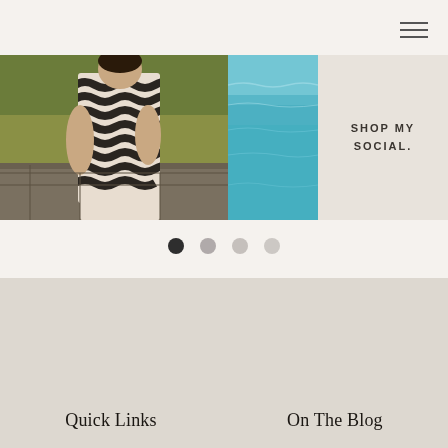[Figure (photo): Left image: person wearing black and white wavy/zigzag patterned top standing near stone wall with green bushes in background]
[Figure (photo): Right small image: turquoise ocean/sea water]
SHOP MY SOCIAL.
[Figure (infographic): Carousel pagination dots: 4 circles, first filled dark, others progressively lighter]
[Figure (logo): Large watermark letter N in light beige/cream on warm grey background]
Quick Links
On The Blog